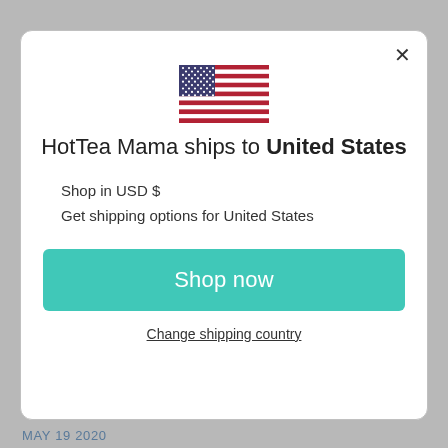[Figure (illustration): US flag SVG illustration centered in modal]
HotTea Mama ships to United States
Shop in USD $
Get shipping options for United States
Shop now
Change shipping country
MAY 19 2020
From hypnobirthing to raspberry lef tea, this blog spells out